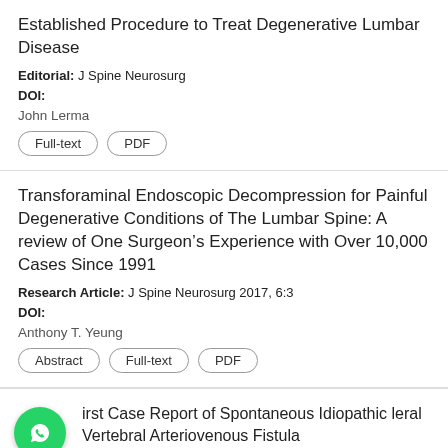Established Procedure to Treat Degenerative Lumbar Disease
Editorial: J Spine Neurosurg
DOI:
John Lerma
Full-text  PDF
Transforaminal Endoscopic Decompression for Painful Degenerative Conditions of The Lumbar Spine: A review of One Surgeon’s Experience with Over 10,000 Cases Since 1991
Research Article: J Spine Neurosurg 2017, 6:3
DOI:
Anthony T. Yeung
Abstract  Full-text  PDF
First Case Report of Spontaneous Idiopathic Lateral Vertebral Arteriovenous Fistula
Case Report: J Spine Neurosurg
[Figure (illustration): WhatsApp chat bubble green icon]
Leave a message  X